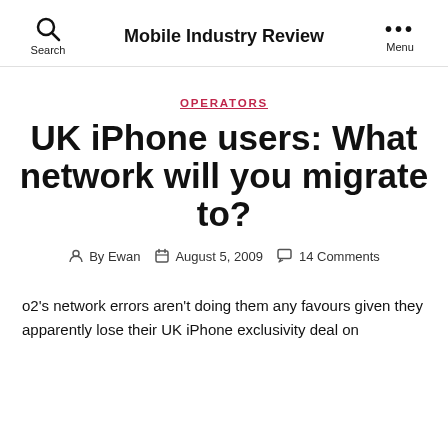Mobile Industry Review
OPERATORS
UK iPhone users: What network will you migrate to?
By Ewan   August 5, 2009   14 Comments
o2's network errors aren't doing them any favours given they apparently lose their UK iPhone exclusivity deal on